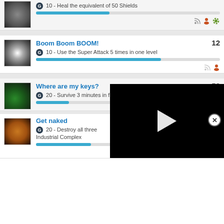10 - Heal the equivalent of 50 Shields
Boom Boom BOOM! | 12 | G 10 - Use the Super Attack 5 times in one level
Where are my keys? | 59 | G 20 - Survive 3 minutes in front of the Xibalba Keylock
Get naked | G 20 - Destroy all three [shields in the] Industrial Complex
[Figure (screenshot): Video player overlay with play button on black background and close button]